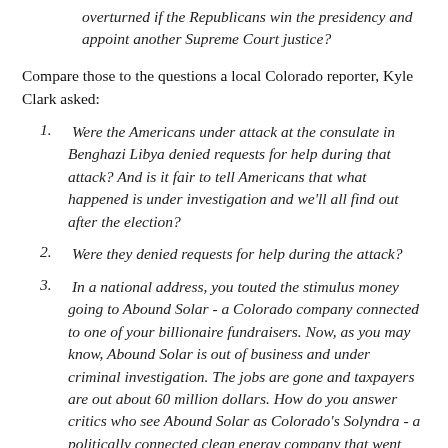overturned if the Republicans win the presidency and appoint another Supreme Court justice?
Compare those to the questions a local Colorado reporter, Kyle Clark asked:
Were the Americans under attack at the consulate in Benghazi Libya denied requests for help during that attack? And is it fair to tell Americans that what happened is under investigation and we'll all find out after the election?
Were they denied requests for help during the attack?
In a national address, you touted the stimulus money going to Abound Solar - a Colorado company connected to one of your billionaire fundraisers. Now, as you may know, Abound Solar is out of business and under criminal investigation. The jobs are gone and taxpayers are out about 60 million dollars. How do you answer critics who see Abound Solar as Colorado's Solyndra - a politically connected clean energy company that went under and took